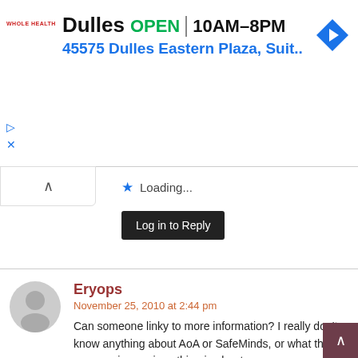[Figure (screenshot): Ad banner for Whole Health/store showing Dulles location OPEN 10AM-8PM with address 45575 Dulles Eastern Plaza, Suit.. and a blue navigation arrow icon]
Loading...
Log in to Reply
Eryops
November 25, 2010 at 2:44 pm
Can someone linky to more information? I really don't know anything about AoA or SafeMinds, or what this mercury-in-vaccines thing is about.
Loading...
Log in to Reply